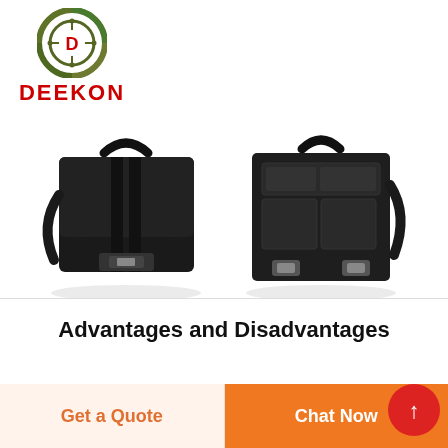[Figure (logo): DEEKON brand logo: circular target/crosshair emblem in green camouflage pattern with red D in center, and bold red text DEEKON below]
[Figure (photo): Two black leather briefcase/messenger bags shown side by side. Left bag has buckle flap closure and top handle. Right bag shows rear view with multiple pockets and metal clasp hardware.]
Advantages and Disadvantages